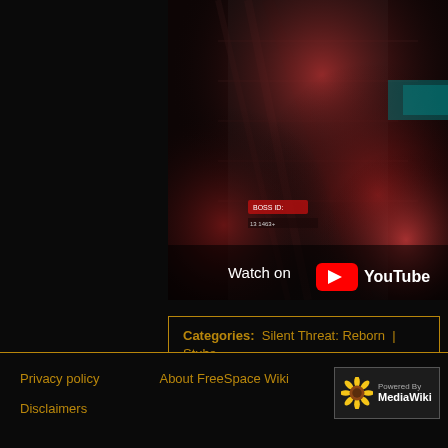[Figure (screenshot): YouTube video embed thumbnail showing a dark sci-fi space game scene with 'Watch on YouTube' overlay button]
Categories:  Silent Threat: Reborn | Stubs
Privacy policy   About FreeSpace Wiki   Disclaimers   Powered By MediaWiki